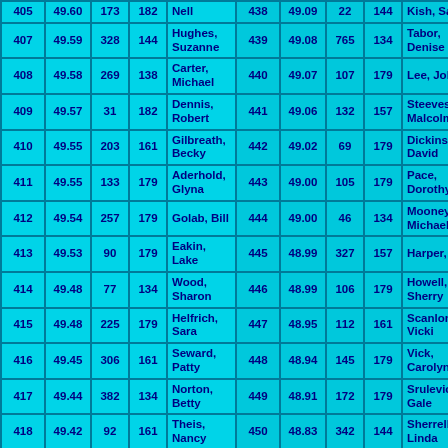| # | Score | Wins | ? | Name | # | Score | Wins | ? | Name |
| --- | --- | --- | --- | --- | --- | --- | --- | --- | --- |
| 405 | 49.60 | 173 | 182 | Nell | 438 | 49.09 | 22 | 144 | Kish, Sarkis |
| 407 | 49.59 | 328 | 144 | Hughes, Suzanne | 439 | 49.08 | 765 | 134 | Tabor, Denise |
| 408 | 49.58 | 269 | 138 | Carter, Michael | 440 | 49.07 | 107 | 179 | Lee, John |
| 409 | 49.57 | 31 | 182 | Dennis, Robert | 441 | 49.06 | 132 | 157 | Steeves, Malcolm |
| 410 | 49.55 | 203 | 161 | Gilbreath, Becky | 442 | 49.02 | 69 | 179 | Dickinson, David |
| 411 | 49.55 | 133 | 179 | Aderhold, Glyna | 443 | 49.00 | 105 | 179 | Pace, Dorothy |
| 412 | 49.54 | 257 | 179 | Golab, Bill | 444 | 49.00 | 46 | 134 | Mooney, Michael |
| 413 | 49.53 | 90 | 179 | Eakin, Lake | 445 | 48.99 | 327 | 157 | Harper, Ann |
| 414 | 49.48 | 77 | 134 | Wood, Sharon | 446 | 48.99 | 106 | 179 | Howell, Sherry |
| 415 | 49.48 | 225 | 179 | Helfrich, Sara | 447 | 48.95 | 112 | 161 | Scanlon, Vicki |
| 416 | 49.45 | 306 | 161 | Seward, Patty | 448 | 48.94 | 145 | 179 | Vick, Carolyn |
| 417 | 49.44 | 382 | 134 | Norton, Betty | 449 | 48.91 | 172 | 179 | Srulevich, Gale |
| 418 | 49.42 | 92 | 161 | Theis, Nancy | 450 | 48.83 | 342 | 144 | Sherrell, Linda |